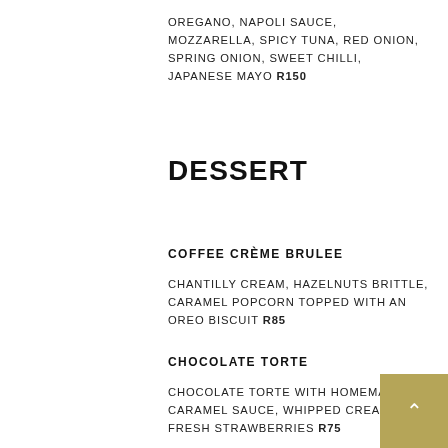OREGANO, NAPOLI SAUCE, MOZZARELLA, SPICY TUNA, RED ONION, SPRING ONION, SWEET CHILLI, JAPANESE MAYO R150
DESSERT
COFFEE CRÈME BRULEE
CHANTILLY CREAM, HAZELNUTS BRITTLE, CARAMEL POPCORN TOPPED WITH AN OREO BISCUIT R85
CHOCOLATE TORTE
CHOCOLATE TORTE WITH HOMEMADE CARAMEL SAUCE, WHIPPED CREAM AND FRESH STRAWBERRIES R75